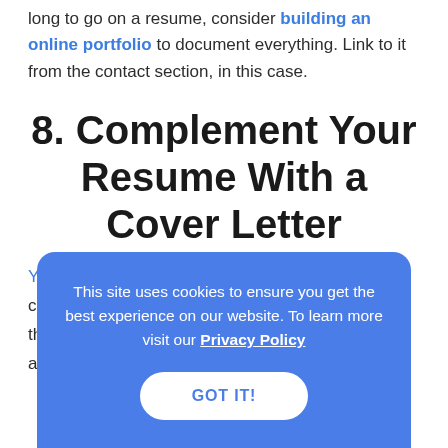long to go on a resume, consider building an online portfolio to document everything. Link to it from the contact section, in this case.
8. Complement Your Resume With a Cover Letter
You...
cov...
thin...
allow you to speak easily in normal sentences.
[Figure (screenshot): Cookie consent banner overlay on blue background. Text reads: 'This site uses cookies to ensure you get the best experience on our website. To learn more visit our Privacy Policy' with a 'GOT IT!' button.]